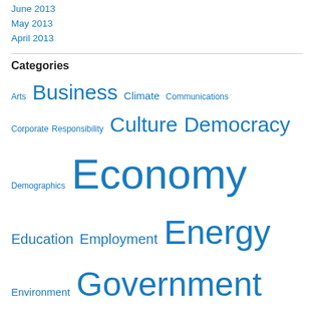June 2013
May 2013
April 2013
Categories
Arts Business Climate Communications Corporate Responsibility Culture Democracy Demographics Economy Education Employment Energy Environment Government Humour Idiocracy Law Media Municipal Affairs Oil and Gas Personal History Politics Science Security Society Technology Trade Uncategorized Wealth Workplace